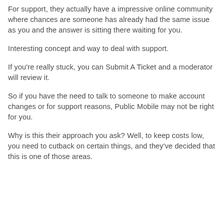For support, they actually have a impressive online community where chances are someone has already had the same issue as you and the answer is sitting there waiting for you.
Interesting concept and way to deal with support.
If you're really stuck, you can Submit A Ticket and a moderator will review it.
So if you have the need to talk to someone to make account changes or for support reasons, Public Mobile may not be right for you.
Why is this their approach you ask? Well, to keep costs low, you need to cutback on certain things, and they've decided that this is one of those areas.